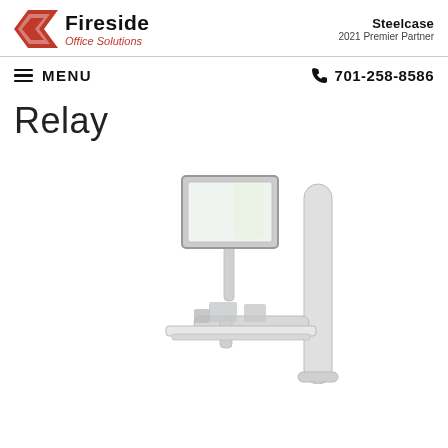Fireside Office Solutions | Steelcase 2021 Premier Partner
MENU | 701-258-8586
Relay
[Figure (illustration): Wall-mounted computer workstation with monitor on articulating arm, keyboard tray shelf, and vertical pole mount — the Relay product by Steelcase]